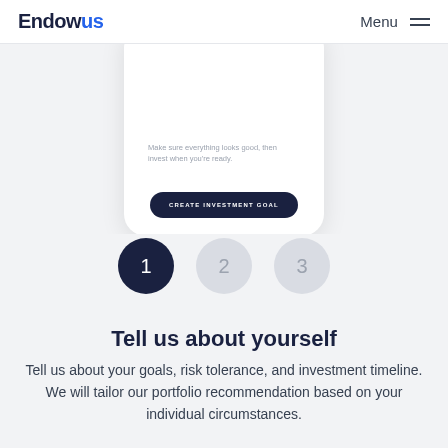Endowus  Menu
[Figure (screenshot): Partial phone/app mockup showing a card UI with text 'Make sure everything looks good, then invest when you're ready.' and a dark navy 'CREATE INVESTMENT GOAL' button]
[Figure (infographic): Three step-indicator circles numbered 1, 2, 3. Circle 1 is dark navy (active), circles 2 and 3 are light grey (inactive).]
Tell us about yourself
Tell us about your goals, risk tolerance, and investment timeline. We will tailor our portfolio recommendation based on your individual circumstances.